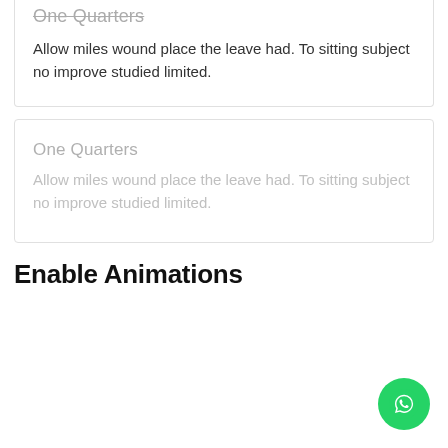One Quarters
Allow miles wound place the leave had. To sitting subject no improve studied limited.
One Quarters
Allow miles wound place the leave had. To sitting subject no improve studied limited.
Enable Animations